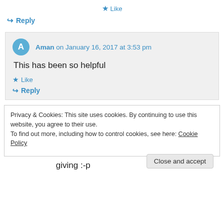★ Like
↪ Reply
Aman on January 16, 2017 at 3:53 pm
This has been so helpful
★ Like
↪ Reply
Privacy & Cookies: This site uses cookies. By continuing to use this website, you agree to their use.
To find out more, including how to control cookies, see here: Cookie Policy
Close and accept
giving :-p